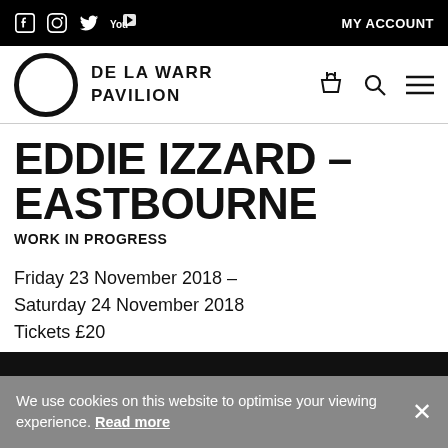MY ACCOUNT
[Figure (logo): De La Warr Pavilion logo with circular ring icon and text]
EDDIE IZZARD – EASTBOURNE
WORK IN PROGRESS
Friday 23 November 2018 – Saturday 24 November 2018 Tickets £20
[Figure (photo): Black image block at bottom of page]
We use cookies on this website to optimise your viewing experience. Read more